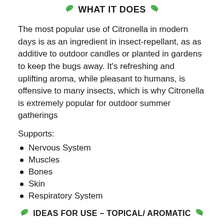WHAT IT DOES
The most popular use of Citronella in modern days is as an ingredient in insect-repellant, as as additive to outdoor candles or planted in gardens to keep the bugs away. It’s refreshing and uplifting aroma, while pleasant to humans, is offensive to many insects, which is why Citronella is extremely popular for outdoor summer gatherings
Supports:
Nervous System
Muscles
Bones
Skin
Respiratory System
IDEAS FOR USE – TOPICAL/ AROMATIC